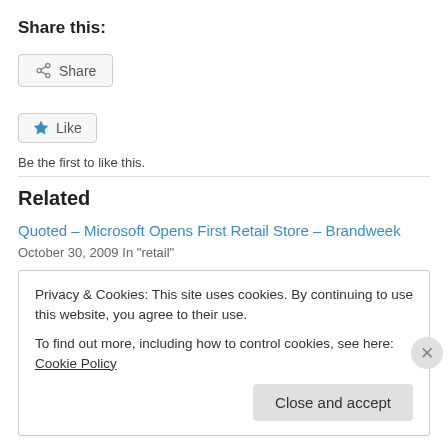Share this:
[Figure (other): Share button with share icon]
[Figure (other): Like button with star icon]
Be the first to like this.
Related
Quoted – Microsoft Opens First Retail Store – Brandweek
October 30, 2009
In "retail"
Privacy & Cookies: This site uses cookies. By continuing to use this website, you agree to their use.
To find out more, including how to control cookies, see here: Cookie Policy
Close and accept